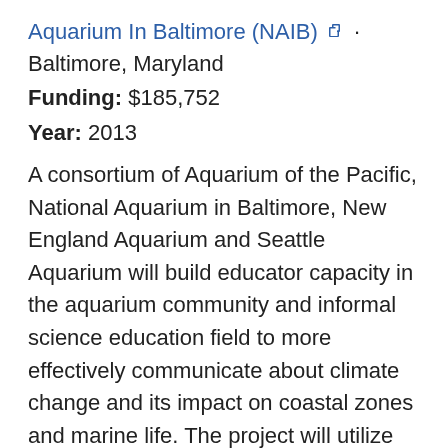Aquarium In Baltimore (NAIB) · Baltimore, Maryland
Funding: $185,752
Year: 2013
A consortium of Aquarium of the Pacific, National Aquarium in Baltimore, New England Aquarium and Seattle Aquarium will build educator capacity in the aquarium community and informal science education field to more effectively communicate about climate change and its impact on coastal zones and marine life. The project will utilize NOAA datasets and visualizations in providing interpreters with training and strategic framing